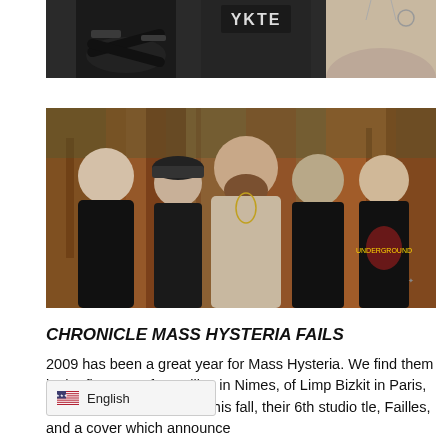[Figure (photo): Partial band photo cropped at top, showing torsos of band members in dark clothing with tattoos, against a dark background. One person in a beige/light shirt visible at right.]
[Figure (photo): Group photo of five male band members (Mass Hysteria) standing together in front of a rusty metal backdrop. Members wear dark t-shirts with band graphics; center member in beige polo shirt with beard. Band poses in a rock/metal style.]
CHRONICLE MASS HYSTERIA FAILS
2009 has been a great year for Mass Hysteria. We find them in the first part of Metallica in Nimes, of Limp Bizkit in Paris, and they are releasing in this fall, their 6th studio tle, Failles, and a cover which announce